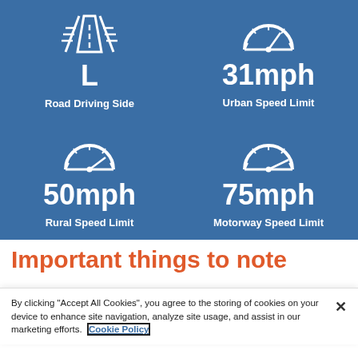[Figure (infographic): Blue panel with four cells showing driving information icons and values: Road Driving Side (L), Urban Speed Limit (31mph), Rural Speed Limit (50mph), Motorway Speed Limit (75mph)]
Important things to note
By clicking “Accept All Cookies”, you agree to the storing of cookies on your device to enhance site navigation, analyze site usage, and assist in our marketing efforts. Cookie Policy